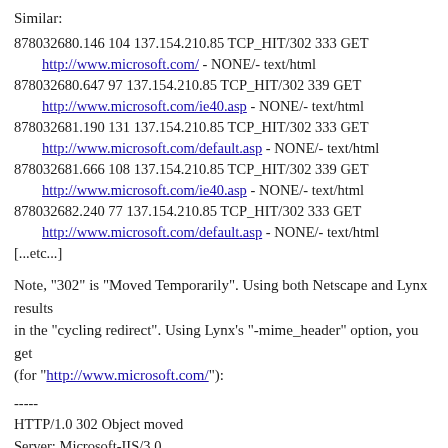Similar:
878032680.146 104 137.154.210.85 TCP_HIT/302 333 GET http://www.microsoft.com/ - NONE/- text/html
878032680.647 97 137.154.210.85 TCP_HIT/302 339 GET http://www.microsoft.com/ie40.asp - NONE/- text/html
878032681.190 131 137.154.210.85 TCP_HIT/302 333 GET http://www.microsoft.com/default.asp - NONE/- text/html
878032681.666 108 137.154.210.85 TCP_HIT/302 339 GET http://www.microsoft.com/ie40.asp - NONE/- text/html
878032682.240 77 137.154.210.85 TCP_HIT/302 333 GET http://www.microsoft.com/default.asp - NONE/- text/html
[...etc...]
Note, "302" is "Moved Temporarily". Using both Netscape and Lynx results
in the "cycling redirect". Using Lynx's "-mime_header" option, you get
(for "http://www.microsoft.com/"):
-----
HTTP/1.0 302 Object moved
Server: Microsoft-IIS/3.0
Date: Tue, 28 Oct 1997 05:56:52 GMT
Location: /ie40.asp